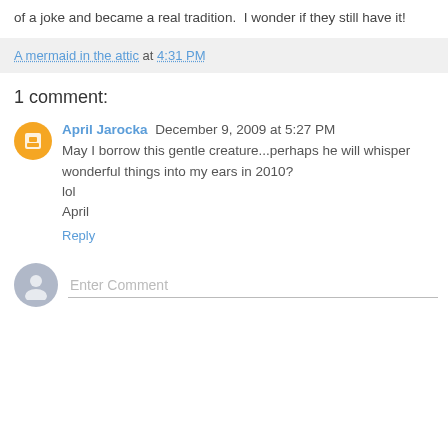of a joke and became a real tradition.  I wonder if they still have it!
A mermaid in the attic at 4:31 PM
1 comment:
April Jarocka December 9, 2009 at 5:27 PM
May I borrow this gentle creature...perhaps he will whisper wonderful things into my ears in 2010?
lol
April
Reply
Enter Comment